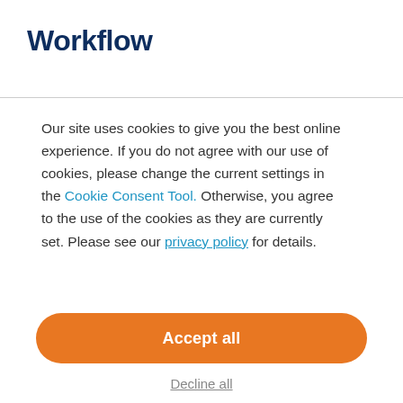Workflow
Our site uses cookies to give you the best online experience. If you do not agree with our use of cookies, please change the current settings in the Cookie Consent Tool. Otherwise, you agree to the use of the cookies as they are currently set. Please see our privacy policy for details.
Accept all
Decline all